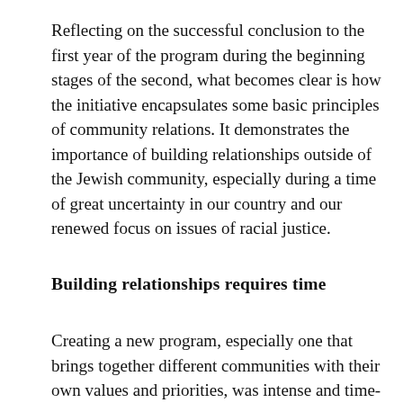Reflecting on the successful conclusion to the first year of the program during the beginning stages of the second, what becomes clear is how the initiative encapsulates some basic principles of community relations. It demonstrates the importance of building relationships outside of the Jewish community, especially during a time of great uncertainty in our country and our renewed focus on issues of racial justice.
Building relationships requires time
Creating a new program, especially one that brings together different communities with their own values and priorities, was intense and time-consuming. Each